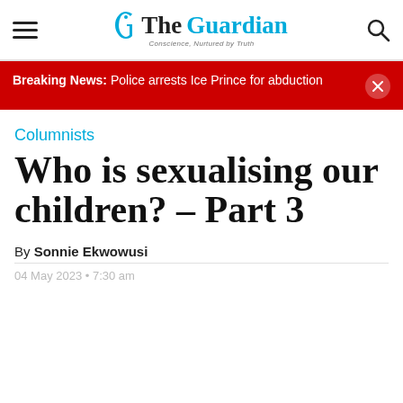The Guardian — Conscience, Nurtured by Truth
Breaking News: Police arrests Ice Prince for abduction
Columnists
Who is sexualising our children? – Part 3
By Sonnie Ekwowusi
04 May 2023 • 7:30 am